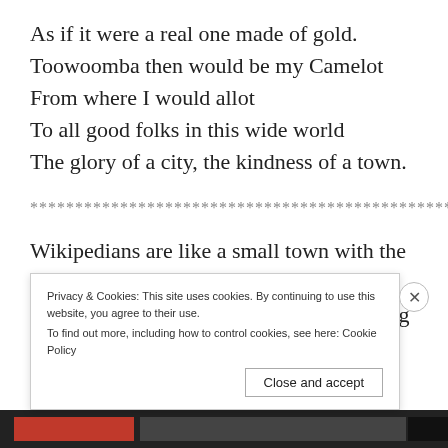As if it were a real one made of gold.
Toowoomba then would be my Camelot
From where I would allot
To all good folks in this wide world
The glory of a city, the kindness of a town.
************************************************
Wikipedians are like a small town with the vices of a big city, whereas I live near a small city with many of the virtues of a big town. Wikipedians talk
Privacy & Cookies: This site uses cookies. By continuing to use this website, you agree to their use.
To find out more, including how to control cookies, see here: Cookie Policy
Close and accept